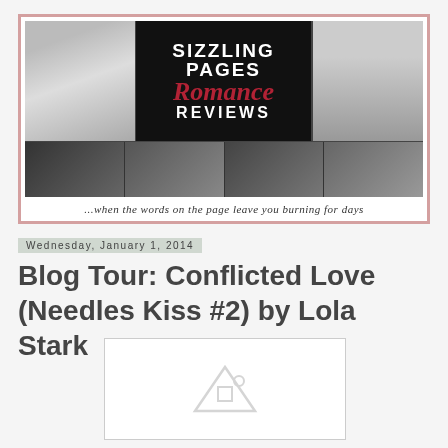[Figure (illustration): Sizzling Pages Romance Reviews blog banner with collage of romance photo thumbnails and text: 'SIZZLING PAGES Romance REVIEWS ...when the words on the page leave you burning for days']
Wednesday, January 1, 2014
Blog Tour: Conflicted Love (Needles Kiss #2) by Lola Stark
[Figure (illustration): Book cover placeholder image with generic image icon]